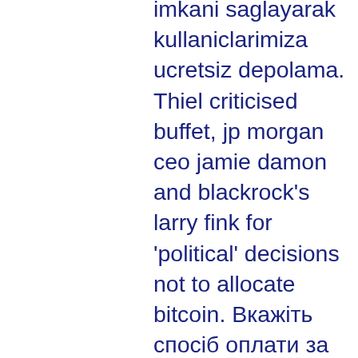imkani saglayarak kullaniclarimiza ucretsiz depolama. Thiel criticised buffet, jp morgan ceo jamie damon and blackrock's larry fink for 'political' decisions not to allocate bitcoin. Вкажіть спосіб оплати за криптовалюту — webmoney, paypal, neteller. Accept more traditional banking options, like credit cards and paypal. We do not offer paypal, wire transfer or check payments. Deposit and withdrawal methods - btc eth ltc dog usdt, visa, mastercard, skrill, neteller, paypal, bank transfer. Peter thiel, co-founder of paypal and palantir technologies, did not mince words when he announced his &quot;enemies list,&quot; an attempt to call. Ви готові грати на гроші в bitstarz? отримай бонус. 18+ | грайте відповідально. 1-й депозит: 100% до $100 або 1 btc + 180фс. Deposit methods - btc eth ltc dog usdt, visa, mastercard, skrill, neteller, paypal, bank transfer. Bitstarz casino review | exclusive 25 no deposit free.